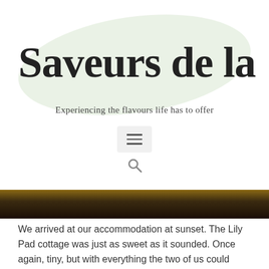Les Saveurs de la Vie
Experiencing the flavours life has to offer
[Figure (screenshot): Hamburger menu icon button and search icon, part of website navigation]
[Figure (photo): Dark brown landscape photo strip, partially visible]
We arrived at our accommodation at sunset. The Lily Pad cottage was just as sweet as it sounded. Once again, tiny, but with everything the two of us could possible need. We'd planned to eat at home with a delicious dinner of a creamy fresh crab 🦀 pasta and it was a great decision as the weather had turned rainy and cold. We hunkered down with our books and our red wine and Hershey's dark